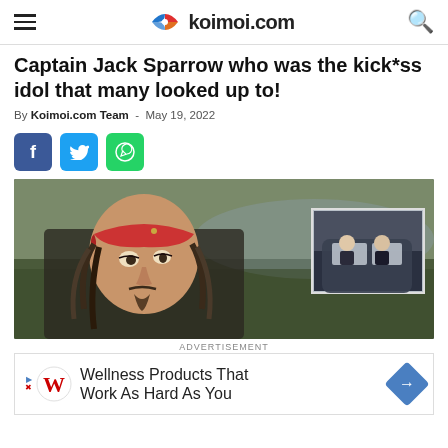koimoi.com
Captain Jack Sparrow who was the kick*ss idol that many looked up to!
By Koimoi.com Team - May 19, 2022
[Figure (illustration): Social share buttons: Facebook (blue), Twitter (light blue), WhatsApp (green)]
[Figure (photo): Captain Jack Sparrow (Johnny Depp in Pirates of the Caribbean) with red bandana, dreadlocked hair, looking sideways. Inset image shows two men in suits sitting in a car.]
ADVERTISEMENT
[Figure (infographic): Advertisement banner: Walgreens logo with text 'Wellness Products That Work As Hard As You']